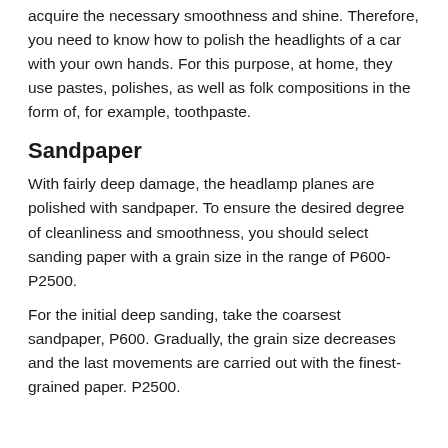acquire the necessary smoothness and shine. Therefore, you need to know how to polish the headlights of a car with your own hands. For this purpose, at home, they use pastes, polishes, as well as folk compositions in the form of, for example, toothpaste.
Sandpaper
With fairly deep damage, the headlamp planes are polished with sandpaper. To ensure the desired degree of cleanliness and smoothness, you should select sanding paper with a grain size in the range of P600-P2500.
For the initial deep sanding, take the coarsest sandpaper, P600. Gradually, the grain size decreases and the last movements are carried out with the finest-grained paper. P2500.